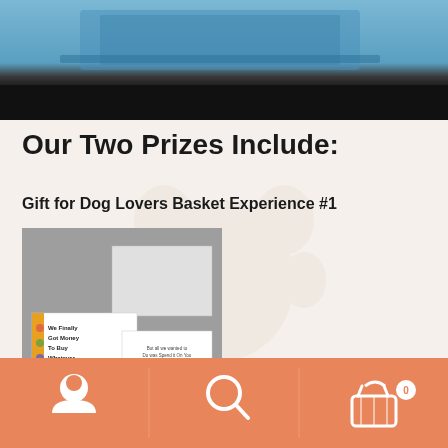[Figure (photo): Top banner image showing a blue-tinted desk/laptop scene with a black bar below it]
Our Two Prizes Include:
Gift for Dog Lovers Basket Experience #1
[Figure (photo): Product image showing a gray background with greeting cards - one colorful card reading 'We Finally Got Money To Buy Whatever We Wanted!' and a white card with paw prints and handwritten text]
[Figure (infographic): Bottom navigation bar (orange/salmon) with three white icons: person/user icon, search/magnifying glass icon, and shopping basket icon with a badge showing 0]